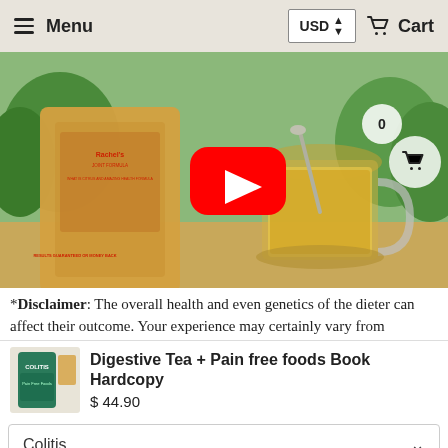Menu   USD ▲▼   🛒 Cart
[Figure (screenshot): Hero image showing a product pouch labeled Rachel's next to a glass mug of golden herbal tea on a wooden surface with greenery in background. YouTube play button overlay in center. Cart badge with 0 and cart icon top right.]
*Disclaimer: The overall health and even genetics of the dieter can affect their outcome. Your experience may certainly vary from
Digestive Tea + Pain free foods Book Hardcopy
$ 44.90
Colitis
− 1 +   ADD TO CART